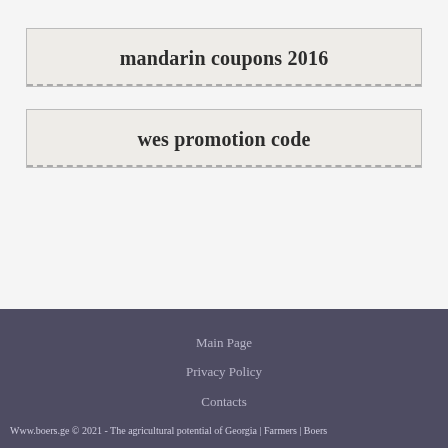mandarin coupons 2016
wes promotion code
Main Page
Privacy Policy
Contacts
Www.boers.ge © 2021 - The agricultural potential of Georgia | Farmers | Boers